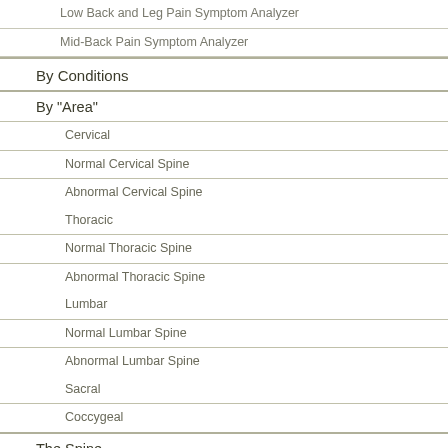Low Back and Leg Pain Symptom Analyzer
Mid-Back Pain Symptom Analyzer
By Conditions
By "Area"
Cervical
Normal Cervical Spine
Abnormal Cervical Spine
Thoracic
Normal Thoracic Spine
Abnormal Thoracic Spine
Lumbar
Normal Lumbar Spine
Abnormal Lumbar Spine
Sacral
Coccygeal
The Spine
[Figure (illustration): Contact Us banner with blue to gold gradient background and white serif text reading 'Contact Us']